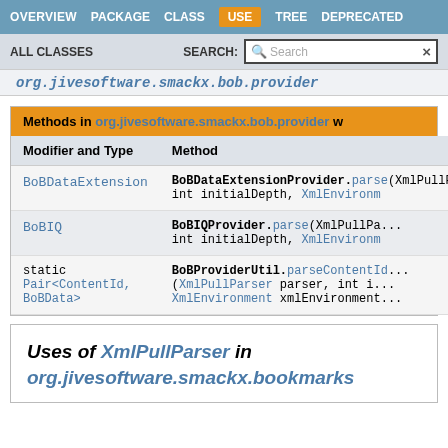OVERVIEW  PACKAGE  CLASS  USE  TREE  DEPRECATED
ALL CLASSES    SEARCH:  Search
org.jivesoftware.smackx.bob.provider
Methods in org.jivesoftware.smackx.bob.provider w
| Modifier and Type | Method |
| --- | --- |
| BoBDataExtension | BoBDataExtensionProvider.parse( int initialDepth, XmlEnvironm |
| BoBIQ | BoBIQProvider.parse(XmlPullPa int initialDepth, XmlEnvironm |
| static Pair<ContentId, BoBData> | BoBProviderUtil.parseContentId (XmlPullParser parser, int i XmlEnvironment xmlEnvironment |
Uses of XmlPullParser in org.jivesoftware.smackx.bookmarks